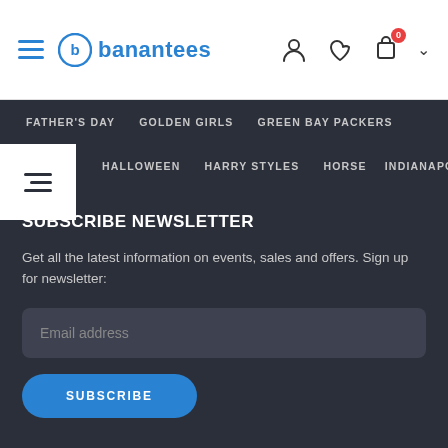banantees - header navigation
FATHER'S DAY  GOLDEN GIRLS  GREEN BAY PACKERS  HALLOWEEN  HARRY STYLES  HORSE  INDIANAPOLIS COLTS
SUBSCRIBE NEWSLETTER
Get all the latest information on events, sales and offers. Sign up for newsletter:
Email address
SUBSCRIBE
[Figure (logo): banantees logo in footer]